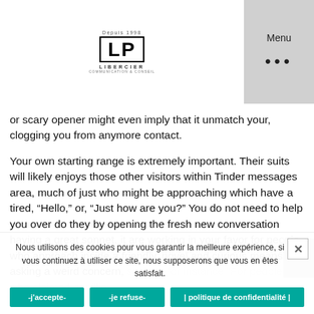Depuis 1998 [LP] LIBERCIER | Menu ...
or scary opener might even imply that it unmatch your, clogging you from anymore contact.

Your own starting range is extremely important. Their suits will likely enjoys those other visitors within Tinder messages area, much of just who might be approaching which have a tired, “Hello,” or, “Just how are you?” You do not need to help you over do they by opening the fresh new conversation having a great sonnet, it are working in your favor for people who approach inside a friendly, novel and curious means. Try asking a weird concern, such as for instance “For people who claimed a million…
Nous utilisons des cookies pour vous garantir la meilleure expérience, si vous continuez à utiliser ce site, nous supposerons que vous en êtes satisfait.
-j'accepte-  -je refuse-  | politique de confidentialité |